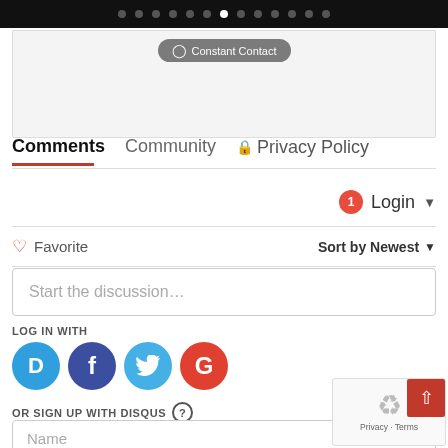[Figure (screenshot): Top navigation black bar with pagination dots, one white active dot in center]
[Figure (screenshot): Constant Contact embedded widget/button area]
Comments   Community   Privacy Policy
Login ▾
♡ Favorite   Sort by Newest ▾
Start the discussion...
LOG IN WITH
[Figure (logo): Social login icons: Disqus (D), Facebook (f), Twitter bird, Google (G)]
OR SIGN UP WITH DISQUS ?
Name